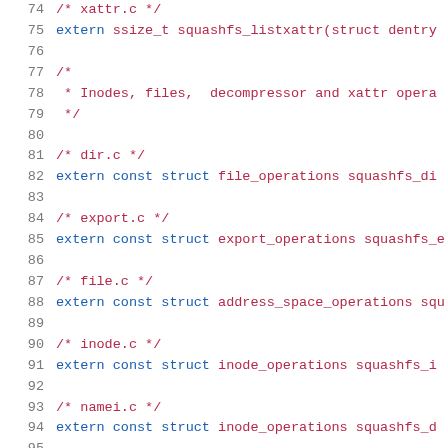74  /* xattr.c */
75  extern ssize_t squashfs_listxattr(struct dentry
76
77  /*
78   * Inodes, files,  decompressor and xattr opera
79   */
80
81  /* dir.c */
82  extern const struct file_operations squashfs_di
83
84  /* export.c */
85  extern const struct export_operations squashfs_e
86
87  /* file.c */
88  extern const struct address_space_operations squ
89
90  /* inode.c */
91  extern const struct inode_operations squashfs_i
92
93  /* namei.c */
94  extern const struct inode_operations squashfs_d
95